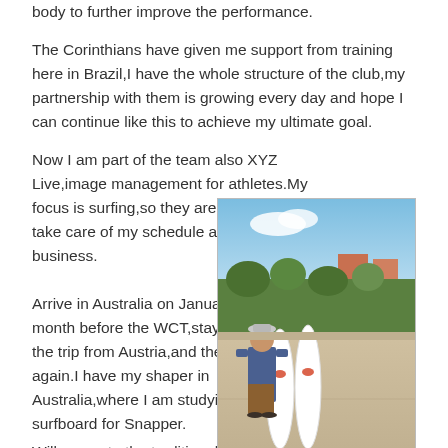body to further improve the performance.
The Corinthians have given me support from training here in Brazil,I have the whole structure of the club,my partnership with them is growing every day and hope I can continue like this to achieve my ultimate goal.
Now I am part of the team also XYZ Live,image management for athletes.My focus is surfing,so they are with me,to take care of my schedule and my business.
[Figure (photo): A person standing outdoors on a terrace with two white surfboards with Red Bull logos, green trees and buildings in the background, blue sky above.]
Arrive in Australia on January 29,one month before the WCT,stay there until the trip from Austria,and then back again.I have my shaper in Australia,where I am studying the best surfboard for Snapper.
Will compete the traditional event Newcastle,6 star event which begins before the Gold Coast.I was invited to the event to defend